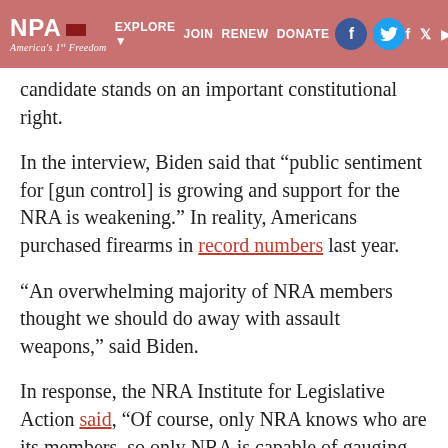NPA EXPLORE JOIN RENEW DONATE America's 1st Freedom
candidate stands on an important constitutional right.
In the interview, Biden said that “public sentiment for [gun control] is growing and support for the NRA is weakening.” In reality, Americans purchased firearms in record numbers last year.
“An overwhelming majority of NRA members thought we should do away with assault weapons,” said Biden.
In response, the NRA Institute for Legislative Action said, “Of course, only NRA knows who are its members, so only NRA is capable of gauging what its members do and do not support. Biden’s claim, quite